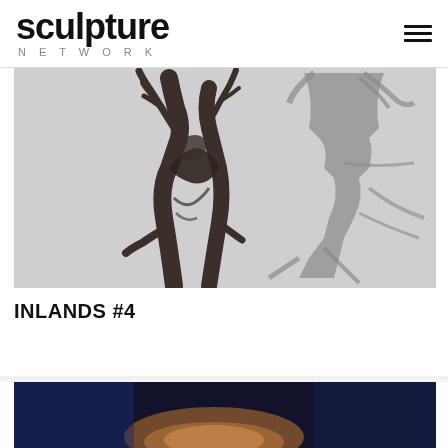sculpture NETWORK
[Figure (photo): Bronze sculpture of two intertwined abstract human/tree forms with branch-like extensions at top, casting dramatic shadow on white wall behind]
INLANDS #4
[Figure (photo): Partially visible sculpture artwork on dark blue/black background, warm amber tones visible at bottom of image]